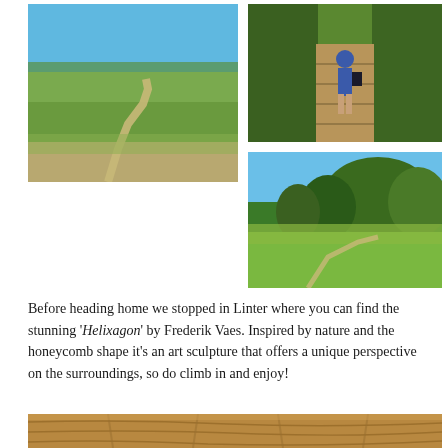[Figure (photo): Wetland landscape with a winding boardwalk path through green reed grass under a clear blue sky]
[Figure (photo): Person walking away on a wooden boardwalk path through tall reeds, carrying a bag, sunny day]
[Figure (photo): Open green parkland with tall trees and reeds under a bright blue sky]
Before heading home we stopped in Linter where you can find the stunning 'Helixagon' by Frederik Vaes. Inspired by nature and the honeycomb shape it's an art sculpture that offers a unique perspective on the surroundings, so do climb in and enjoy!
[Figure (photo): Close-up of wooden planks or honeycomb wooden sculpture texture, warm brown tones]